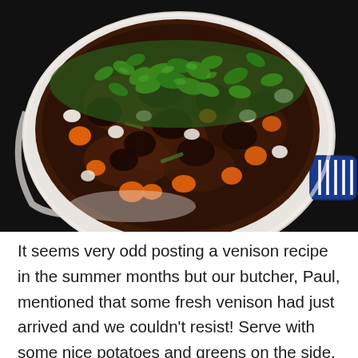[Figure (photo): Overhead photo of a venison stew in a white casserole dish with a blue handle, containing chunks of meat, orange carrots, white beans, and garnished with fresh green parsley, on a dark background.]
It seems very odd posting a venison recipe in the summer months but our butcher, Paul, mentioned that some fresh venison had just arrived and we couldn't resist! Serve with some nice potatoes and greens on the side. Delicious at whatever time of the year you come across some nice